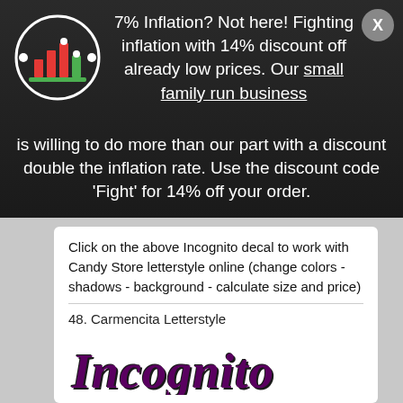[Figure (logo): Bar chart logo icon in a circular frame with white circle outline on dark background, bars in red and green]
7% Inflation? Not here! Fighting inflation with 14% discount off already low prices. Our small family run business is willing to do more than our part with a discount double the inflation rate. Use the discount code 'Fight' for 14% off your order.
Click on the above Incognito decal to work with Candy Store letterstyle online (change colors - shadows - background - calculate size and price)
48. Carmencita Letterstyle
[Figure (illustration): The word 'Incognito' rendered in a decorative Carmencita letterstyle font in dark purple/maroon with black shadow outlines]